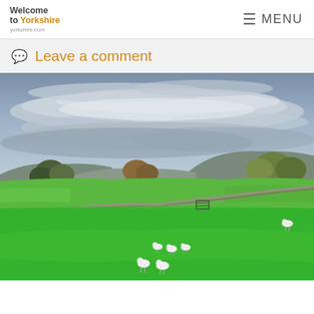Welcome to Yorkshire yorkshire.com | MENU
Leave a comment
[Figure (photo): Panoramic landscape photo of Yorkshire countryside showing green rolling hills with grazing sheep in the foreground, a dry stone wall running diagonally across the image, trees with autumn foliage in the middle distance, and a prominent flat-topped hill in the background under a dramatic cloudy sky with lenticular cloud formations.]